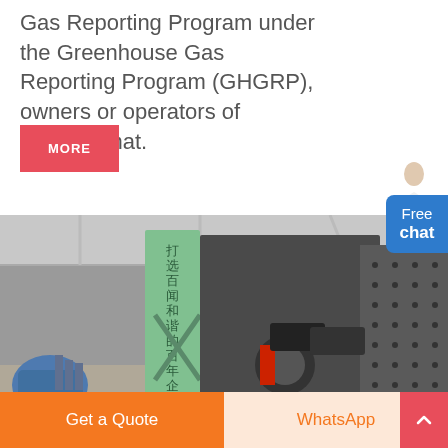Gas Reporting Program under the Greenhouse Gas Reporting Program (GHGRP), owners or operators of facilities that.
MORE
[Figure (photo): Industrial machinery (impact crusher or similar heavy equipment) inside a factory with Chinese text banner visible in background.]
Free chat
Get a Quote
WhatsApp